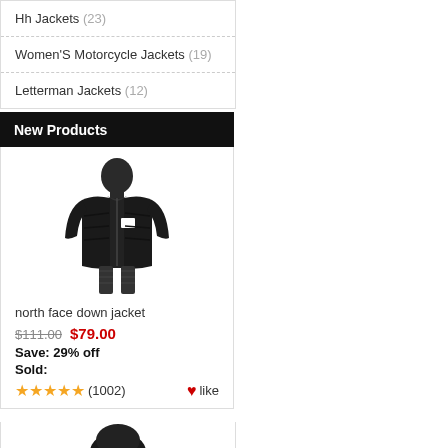Hh Jackets (23)
Women'S Motorcycle Jackets (19)
Letterman Jackets (12)
New Products
[Figure (photo): Black North Face down jacket worn by a female model, shown from the front]
north face down jacket
$111.00  $79.00
Save: 29% off
Sold:
(1002)  like
[Figure (photo): Partial view of a second product (dark hat/beanie) at the bottom of the page]